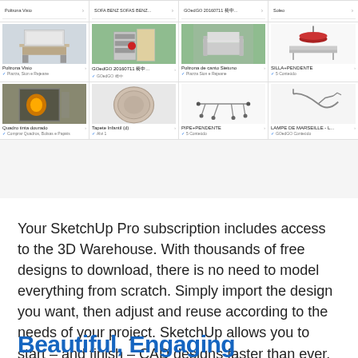[Figure (screenshot): Screenshot of a 3D Warehouse interface showing two rows of 3D model thumbnails — furniture and lighting designs including chairs, shelving units, lamps, and textiles — with model names and author credits beneath each thumbnail.]
Your SketchUp Pro subscription includes access to the 3D Warehouse. With thousands of free designs to download, there is no need to model everything from scratch. Simply import the design you want, then adjust and reuse according to the needs of your project. SketchUp allows you to start – and finish – CAD designs faster than ever.
Beautiful, Engaging